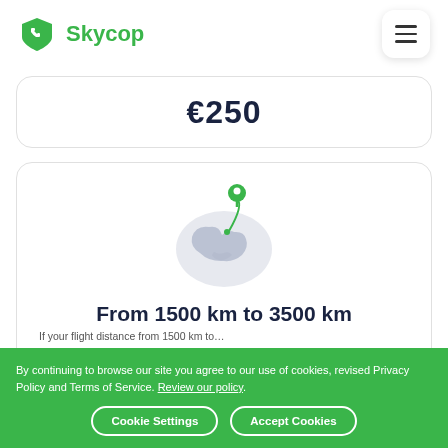Skycop
€250
[Figure (illustration): Globe with a green location pin and arc, representing flight distance range]
From 1500 km to 3500 km
If your flight distance from 1500 km to...
By continuing to browse our site you agree to our use of cookies, revised Privacy Policy and Terms of Service. Review our policy.
Cookie Settings
Accept Cookies